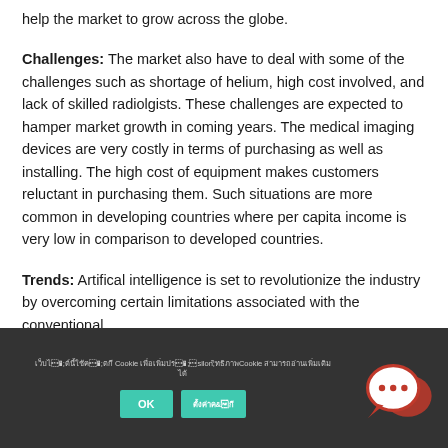help the market to grow across the globe.
Challenges: The market also have to deal with some of the challenges such as shortage of helium, high cost involved, and lack of skilled radiolgists. These challenges are expected to hamper market growth in coming years. The medical imaging devices are very costly in terms of purchasing as well as installing. The high cost of equipment makes customers reluctant in purchasing them. Such situations are more common in developing countries where per capita income is very low in comparison to developed countries.
Trends: Artifical intelligence is set to revolutionize the industry by overcoming certain limitations associated with the conventional
Cookie notice footer with OK and settings buttons